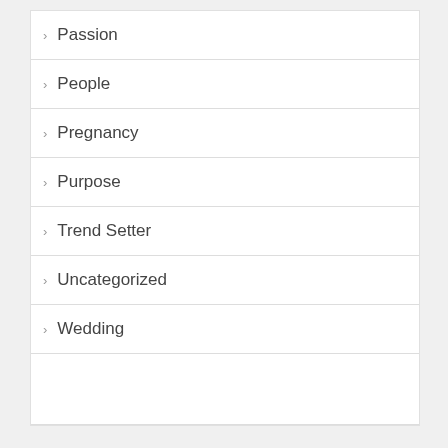Passion
People
Pregnancy
Purpose
Trend Setter
Uncategorized
Wedding